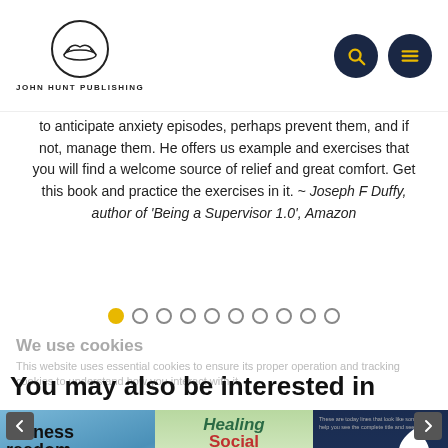[Figure (logo): John Hunt Publishing logo - circular logo with open book and lines]
to anticipate anxiety episodes, perhaps prevent them, and if not, manage them. He offers us example and exercises that you will find a welcome source of relief and great comfort. Get this book and practice the exercises in it. ~ Joseph F Duffy, author of 'Being a Supervisor 1.0', Amazon
[Figure (infographic): Pagination dots row - 10 circles, first one filled yellow/gold, rest empty]
We use cookies
This website uses essential cookies to ensure its proper operation and tracking cookies to understand how you interact with it.
You may also be interested in
[Figure (photo): Book cover: awareness freedom with blue eye image]
[Figure (photo): Book cover: Healing Social Divisions - The Truth of Life, Liberty, & the Pursuit of Happiness]
[Figure (photo): Book cover: AN ANTI TO VIO - dark navy cover with white dove]